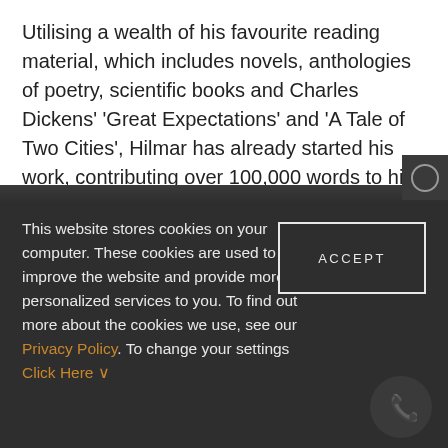Utilising a wealth of his favourite reading material, which includes novels, anthologies of poetry, scientific books and Charles Dickens' 'Great Expectations' and 'A Tale of Two Cities', Hilmar has already started his work, contributing over 100,000 words to his memoires – along with 39
This website stores cookies on your computer. These cookies are used to improve the website and provide more personalized services to you. To find out more about the cookies we use, see our Privacy Policy. To change your settings Click Here